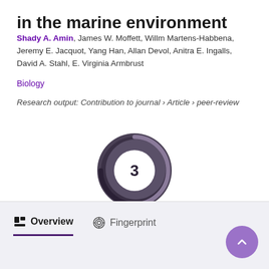in the marine environment
Shady A. Amin, James W. Moffett, Willm Martens-Habbena, Jeremy E. Jacquot, Yang Han, Allan Devol, Anitra E. Ingalls, David A. Stahl, E. Virginia Armbrust
Biology
Research output: Contribution to journal › Article › peer-review
[Figure (donut-chart): Donut chart showing the number 3 in the center, styled with dark purple/grey swirling ring design]
Overview
Fingerprint